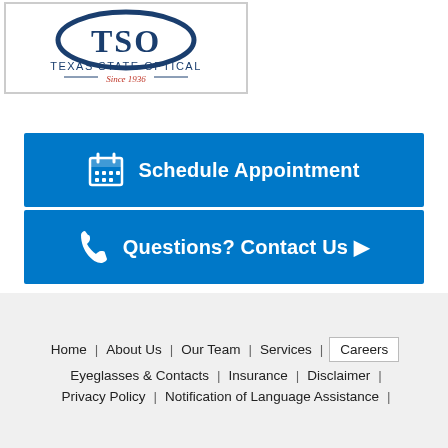[Figure (logo): Texas State Optical (TSO) logo with circular TSO letters, company name, and 'Since 1936' tagline]
Schedule Appointment
Questions? Contact Us ▶
Home | About Us | Our Team | Services | Careers | Eyeglasses & Contacts | Insurance | Disclaimer | Privacy Policy | Notification of Language Assistance |